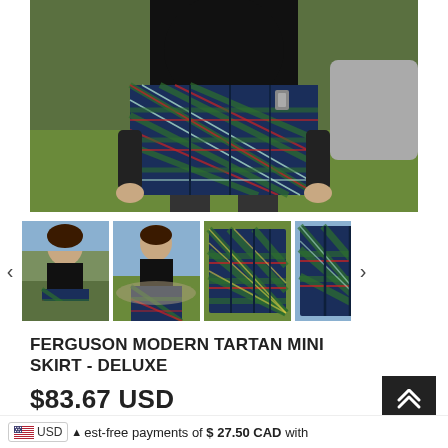[Figure (photo): Main product photo showing a woman from waist down wearing a Ferguson Modern Tartan Mini Skirt Deluxe — a dark navy/blue plaid kilt-style skirt with red and green tartan pattern, worn with black top and dark tights, outdoors on grass.]
[Figure (photo): Thumbnail 1: Woman standing outdoors wearing the tartan mini skirt, full body shot with water in background.]
[Figure (photo): Thumbnail 2: Woman walking on a path outdoors wearing the tartan mini skirt, full body shot.]
[Figure (photo): Thumbnail 3: Close-up of the Ferguson Modern tartan mini skirt laid flat, showing plaid pattern detail.]
[Figure (photo): Thumbnail 4: Side/back view of the Ferguson Modern tartan mini skirt showing pleats.]
FERGUSON MODERN TARTAN MINI SKIRT - DELUXE
$83.67 USD
4 interest-free payments of $ 27.50 CAD with